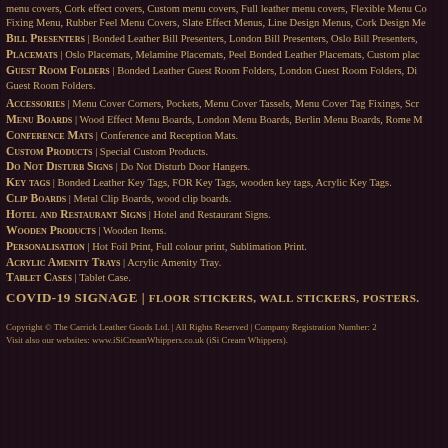menu covers, Cork effect covers, Custom menu covers, Full leather menu covers, Flexible Menu Co...
Fixing Menu, Rubber Feel Menu Covers, Slate Effect Menus, Line Design Menus, Cork Design Me...
BILL PRESENTERS | Bonded Leather Bill Presenters, London Bill Presenters, Oslo Bill Presenters,...
PLACEMATS | Oslo Placemats, Melamine Placemats, Peel Bonded Leather Placemats, Custom pla...
GUEST ROOM FOLDERS | Bonded Leather Guest Room Folders, London Guest Room Folders, Di...
Guest Room Folders.
ACCESSORIES | Menu Cover Corners, Pockets, Menu Cover Tassels, Menu Cover Tag Fixings, Scr...
MENU BOARDS | Wood Effect Menu Boards, London Menu Boards, Berlin Menu Boards, Rome M...
CONFERENCE MATS | Conference and Reception Mats.
CUSTOM PRODUCTS | Special Custom Products.
DO NOT DISTURB SIGNS | Do Not Disturb Door Hangers.
KEY TAGS | Bonded Leather Key Tags, FOR Key Tags, wooden key tags, Acrylic Key Tags.
CLIP BOARDS | Metal Clip Boards, wood clip boards.
HOTEL AND RESTAURANT SIGNS | Hotel and Restaurant Signs.
WOODEN PRODUCTS | Wooden Items.
PERSONALISATION | Hot Foil Print, Full colour print, Sublimation Print.
ACRYLIC AMENITY TRAYS | Acrylic Amenity Tray.
TABLET CASES | Tablet Case.
COVID-19 SIGNAGE | FLOOR STICKERS, WALL STICKERS, POSTERS.
Copyright © The Carrick Leather Goods Ltd. | All Rights Reserved | Company Registration Number: 2
Visit also our websites: www.iSiCreamWhippers.co.uk (iSi Cream Whippers).